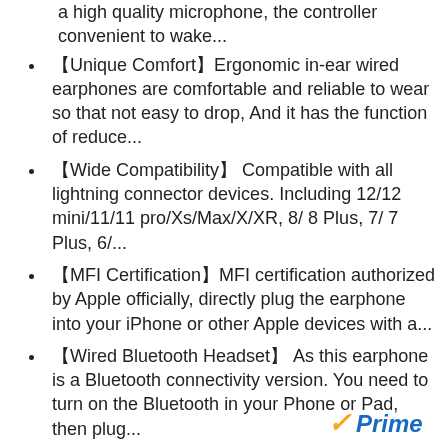a high quality microphone, the controller convenient to wake...
【Unique Comfort】Ergonomic in-ear wired earphones are comfortable and reliable to wear so that not easy to drop, And it has the function of reduce...
【Wide Compatibility】 Compatible with all lightning connector devices. Including 12/12 mini/11/11 pro/Xs/Max/X/XR, 8/ 8 Plus, 7/ 7 Plus, 6/...
【MFI Certification】MFI certification authorized by Apple officially, directly plug the earphone into your iPhone or other Apple devices with a...
【Wired Bluetooth Headset】 As this earphone is a Bluetooth connectivity version. You need to turn on the Bluetooth in your Phone or Pad, then plug...
[Figure (logo): Amazon Prime logo with orange checkmark and blue 'Prime' italic text]